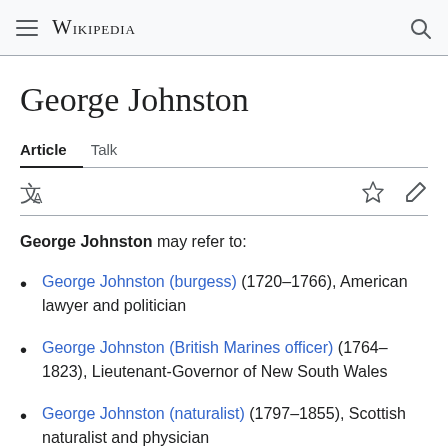Wikipedia
George Johnston
George Johnston may refer to:
George Johnston (burgess) (1720–1766), American lawyer and politician
George Johnston (British Marines officer) (1764–1823), Lieutenant-Governor of New South Wales
George Johnston (naturalist) (1797–1855), Scottish naturalist and physician
George Johnston (surgeon) (1855–1945), Scottish...